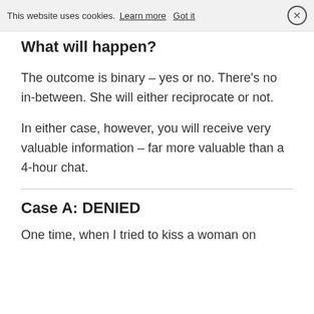This website uses cookies. Learn more  Got it  ×
What will happen?
The outcome is binary – yes or no. There's no in-between. She will either reciprocate or not.
In either case, however, you will receive very valuable information – far more valuable than a 4-hour chat.
Case A: DENIED
One time, when I tried to kiss a woman on